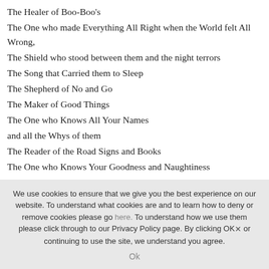The Healer of Boo-Boo's
The One who made Everything All Right when the World felt All Wrong,
The Shield who stood between them and the night terrors
The Song that Carried them to Sleep
The Shepherd of No and Go
The Maker of Good Things
The One who Knows All Your Names
and all the Whys of them
The Reader of the Road Signs and Books
The One who Knows Your Goodness and Naughtiness
Your Strengths and Weaknesses
We use cookies to ensure that we give you the best experience on our website. To understand what cookies are and to learn how to deny or remove cookies please go here. To understand how we use them please click through to our Privacy Policy page. By clicking OK or continuing to use the site, we understand you agree.
Ok